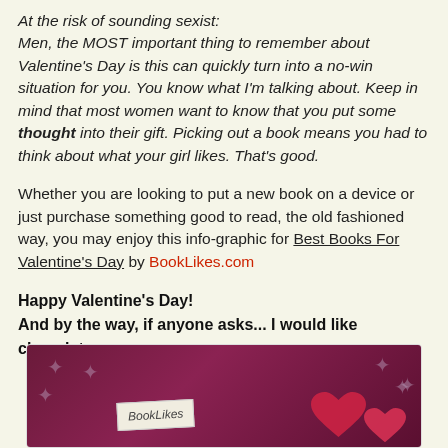At the risk of sounding sexist: Men, the MOST important thing to remember about Valentine's Day is this can quickly turn into a no-win situation for you. You know what I'm talking about. Keep in mind that most women want to know that you put some thought into their gift. Picking out a book means you had to think about what your girl likes. That's good.
Whether you are looking to put a new book on a device or just purchase something good to read, the old fashioned way, you may enjoy this info-graphic for Best Books For Valentine's Day by BookLikes.com
Happy Valentine's Day!
And by the way, if anyone asks... I would like chocolate.
[Figure (photo): Dark purple/maroon background with heart shapes and a card/label visible at the bottom of the image, partially cropped]